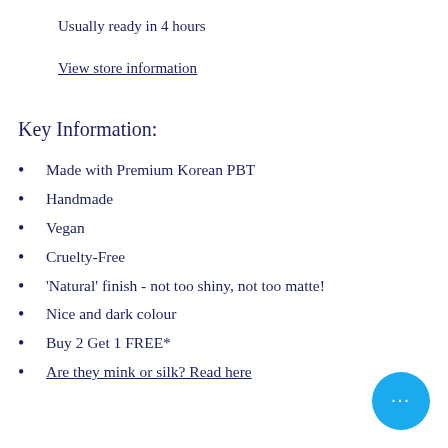Usually ready in 4 hours
View store information
Key Information:
Made with Premium Korean PBT
Handmade
Vegan
Cruelty-Free
'Natural' finish - not too shiny, not too matte!
Nice and dark colour
Buy 2 Get 1 FREE*
Are they mink or silk? Read here